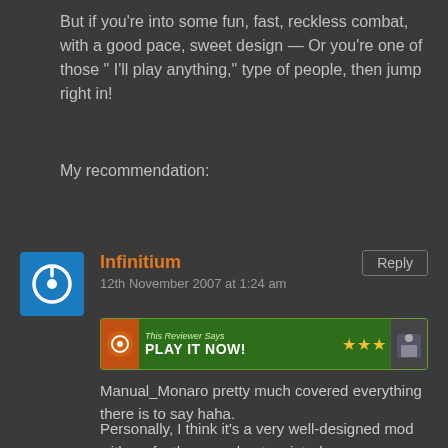But if you're into some fun, fast, reckless combat, with a good pace, sweet design — Or you're one of those " I'll play anything," type of people, then jump right in!
My recommendation:
[Figure (screenshot): User avatar: blue square with white power button icon]
Infinitium
12th November 2007 at 1:24 am
[Figure (screenshot): Green banner: This Reviewer Says PLAY IT NOW! with 3 gold stars]
Manual_Monaro pretty much covered everything there is to say haha.
Personally, I think it's a very well-designed mod with perfectly spaced-out scripted sequences, puzzles, and battles.